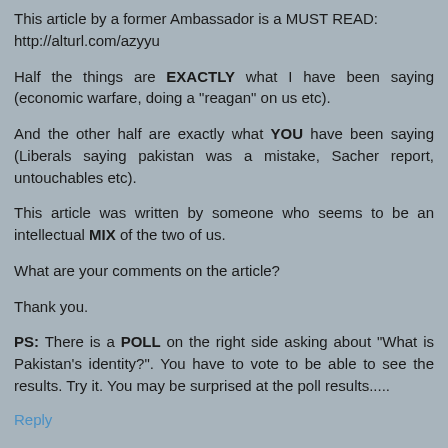This article by a former Ambassador is a MUST READ: http://alturl.com/azyyu
Half the things are EXACTLY what I have been saying (economic warfare, doing a "reagan" on us etc).
And the other half are exactly what YOU have been saying (Liberals saying pakistan was a mistake, Sacher report, untouchables etc).
This article was written by someone who seems to be an intellectual MIX of the two of us.
What are your comments on the article?
Thank you.
PS: There is a POLL on the right side asking about "What is Pakistan's identity?". You have to vote to be able to see the results. Try it. You may be surprised at the poll results.....
Reply